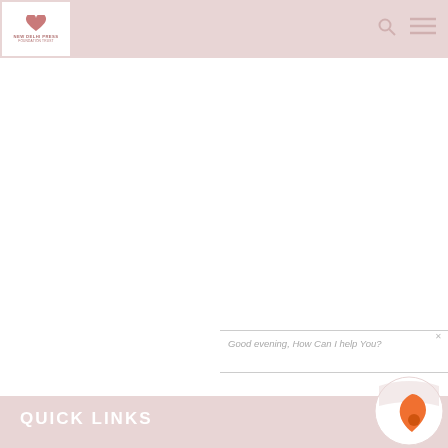NEW DELHI PRESS FOUNDATION TRUST
Good evening, How Can I help You?
QUICK LINKS
[Figure (logo): Bot/chatbot icon with orange heart shape logo]